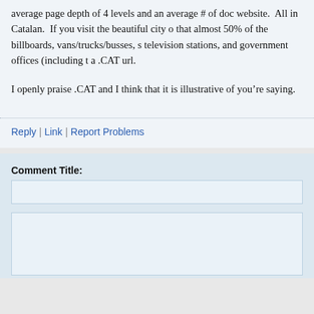average page depth of 4 levels and an average # of doc website. All in Catalan. If you visit the beautiful city o that almost 50% of the billboards, vans/trucks/busses, s television stations, and government offices (including t a .CAT url.
I openly praise .CAT and I think that it is illustrative of you’re saying.
Reply | Link | Report Problems
Comment Title: